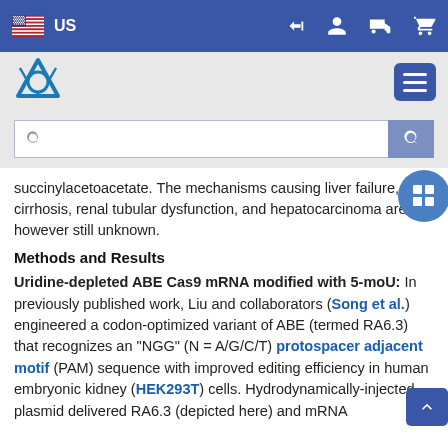[Figure (screenshot): Top navigation bar with US flag, 'US' label, login icon, user icon, delivery icon, cart icon on blue background]
[Figure (screenshot): Logo bar with Thermo Fisher Scientific triangle logo on grey background and blue hamburger menu button]
[Figure (screenshot): Search bar with magnifying glass icon and blue search button]
succinylacetoacetate. The mechanisms causing liver failure, cirrhosis, renal tubular dysfunction, and hepatocarcinoma are however still unknown.
Methods and Results
Uridine-depleted ABE Cas9 mRNA modified with 5-moU: In previously published work, Liu and collaborators (Song et al.) engineered a codon-optimized variant of ABE (termed RA6.3) that recognizes an "NGG" (N = A/G/C/T) protospacer adjacent motif (PAM) sequence with improved editing efficiency in human embryonic kidney (HEK293T) cells. Hydrodynamically-injected plasmid delivered RA6.3 (depicted here) and mRNA